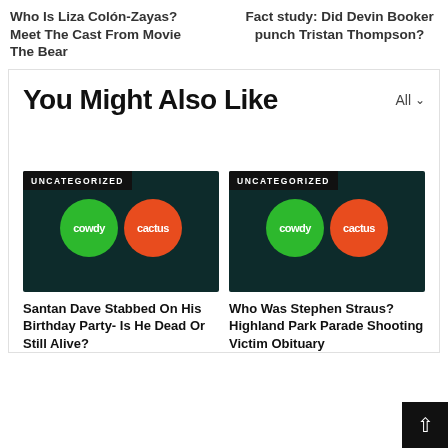Who Is Liza Colón-Zayas? Meet The Cast From Movie The Bear
Fact study: Did Devin Booker punch Tristan Thompson?
You Might Also Like
[Figure (illustration): Cowdy Cactus logo — green circle with 'cowdy' text and orange circle with 'cactus' text on dark teal background, with UNCATEGORIZED badge]
Santan Dave Stabbed On His Birthday Party- Is He Dead Or Still Alive?
[Figure (illustration): Cowdy Cactus logo — green circle with 'cowdy' text and orange circle with 'cactus' text on dark teal background, with UNCATEGORIZED badge]
Who Was Stephen Straus? Highland Park Parade Shooting Victim Obituary